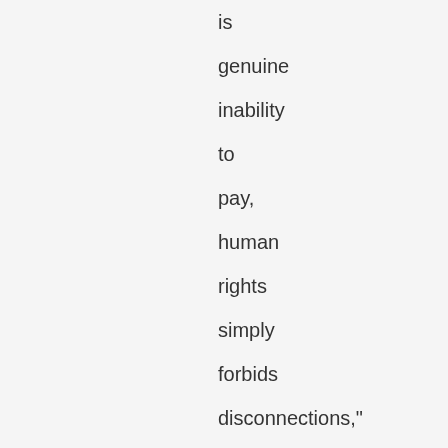is genuine inability to pay, human rights simply forbids disconnections," said Catarina de Albuquerque, the expert on the human right to water and